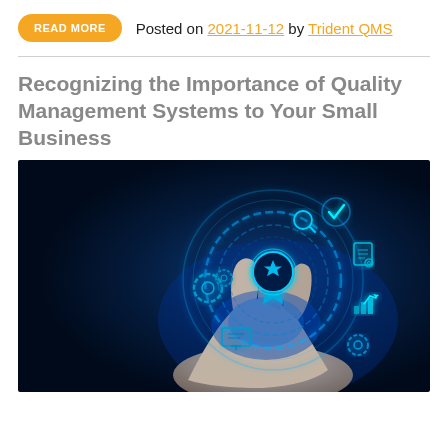READ MORE  Posted on 2021-11-12 by Trident QMS
Recognizing the Importance of Quality Management Systems to Your Small Business
[Figure (photo): A hand holding a glowing blue holographic circle with quality management icons: a star ribbon award in the center, surrounded by icons for a checkmark, magnifying glass, gears, document, bar chart with arrow, and a monitor. Dark background with blue digital light effects.]